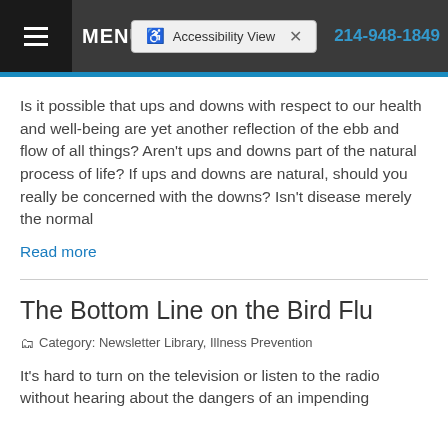MENU  Accessibility View  ×  214-948-1849
Is it possible that ups and downs with respect to our health and well-being are yet another reflection of the ebb and flow of all things? Aren't ups and downs part of the natural process of life? If ups and downs are natural, should you really be concerned with the downs? Isn't disease merely the normal
Read more
The Bottom Line on the Bird Flu
Category: Newsletter Library, Illness Prevention
It's hard to turn on the television or listen to the radio without hearing about the dangers of an impending